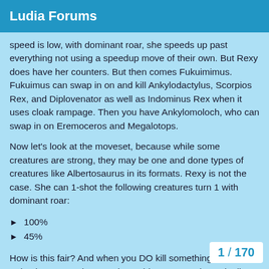Ludia Forums
speed is low, with dominant roar, she speeds up past everything not using a speedup move of their own. But Rexy does have her counters. But then comes Fukuimimus. Fukuimus can swap in on and kill Ankylodactylus, Scorpios Rex, and Diplovenator as well as Indominus Rex when it uses cloak rampage. Then you have Ankylomoloch, who can swap in on Eremoceros and Megalotops.
Now let’s look at the moveset, because while some creatures are strong, they may be one and done types of creatures like Albertosaurus in its formats. Rexy is not the case. She can 1-shot the following creatures turn 1 with dominant roar:
100%
45%
How is this fair? And when you DO kill something turn 1 with a dominant roar, then you have this rampage that’s dealing over 5000 damage. So there isn’t much that ca things that do, they now have to deal with